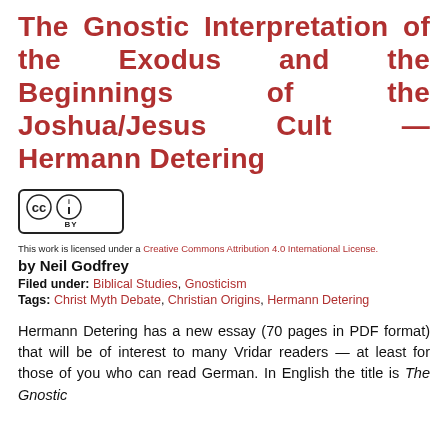The Gnostic Interpretation of the Exodus and the Beginnings of the Joshua/Jesus Cult — Hermann Detering
[Figure (logo): Creative Commons BY license logo with CC circle icon and BY text]
This work is licensed under a Creative Commons Attribution 4.0 International License.
by Neil Godfrey
Filed under: Biblical Studies, Gnosticism
Tags: Christ Myth Debate, Christian Origins, Hermann Detering
Hermann Detering has a new essay (70 pages in PDF format) that will be of interest to many Vridar readers — at least for those of you who can read German. In English the title is The Gnostic